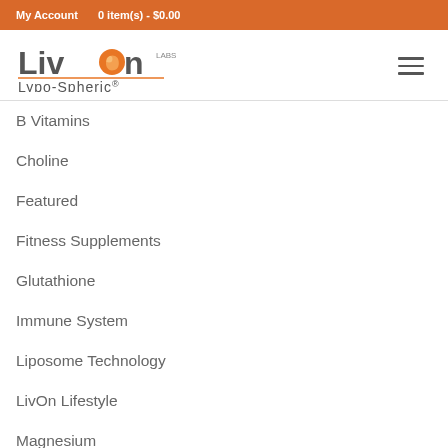My Account   0 item(s) - $0.00
[Figure (logo): LivOn Labs Lypo-Spheric logo with orange circle and text]
B Vitamins
Choline
Featured
Fitness Supplements
Glutathione
Immune System
Liposome Technology
LivOn Lifestyle
Magnesium